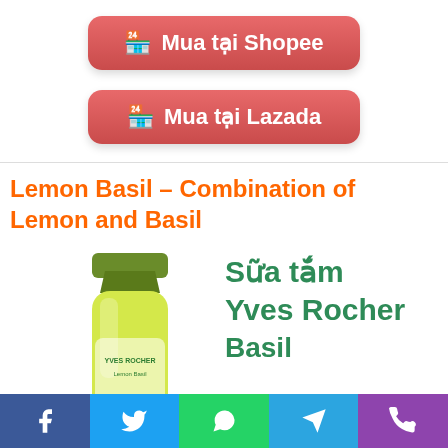[Figure (other): Red button with shopping cart icon labeled 'Mua tại Shopee']
[Figure (other): Red button with shopping cart icon labeled 'Mua tại Lazada']
Lemon Basil – Combination of Lemon and Basil
[Figure (photo): Yves Rocher shower gel bottle with green cap and yellow body, with Vietnamese text 'Sữa tắm Yves Rocher' and partial text 'Basil' visible]
[Figure (other): Social media share bar at bottom with Facebook (blue), Twitter (light blue), WhatsApp (green), Telegram (blue), Phone (purple) icons]